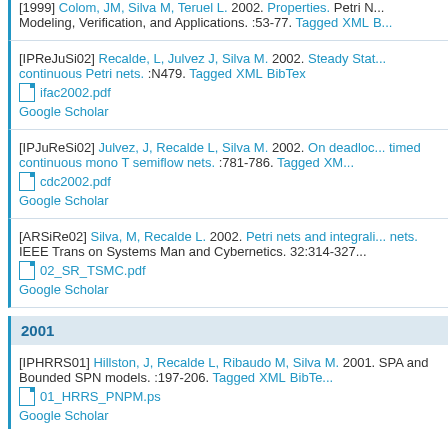[1999] Colom, JM, Silva M, Teruel L. 2002. Properties. Petri Nets Modeling, Verification, and Applications. :53-77. Tagged XML B...
[IPReJuSi02] Recalde, L, Julvez J, Silva M. 2002. Steady State continuous Petri nets. :N479. Tagged XML BibTex ifac2002.pdf Google Scholar
[IPJuReSi02] Julvez, J, Recalde L, Silva M. 2002. On deadlock... timed continuous mono T semiflow nets. :781-786. Tagged XM... cdc2002.pdf Google Scholar
[ARSiRe02] Silva, M, Recalde L. 2002. Petri nets and integrali... nets. IEEE Trans on Systems Man and Cybernetics. 32:314-327... 02_SR_TSMC.pdf Google Scholar
2001
[IPHRRS01] Hillston, J, Recalde L, Ribaudo M, Silva M. 2001. SPA and Bounded SPN models. :197-206. Tagged XML BibTex 01_HRRS_PNPM.ps Google Scholar